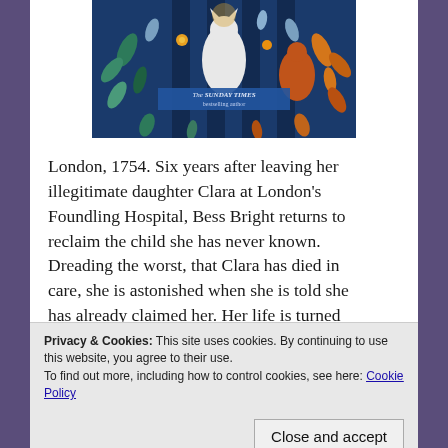[Figure (illustration): Book cover showing a white cat against a dark blue background with colourful botanical illustrations (flowers, leaves, foxes). Text reads 'The SUNDAY TIMES bestselling author'.]
London, 1754. Six years after leaving her illegitimate daughter Clara at London's Foundling Hospital, Bess Bright returns to reclaim the child she has never known. Dreading the worst, that Clara has died in care, she is astonished when she is told she has already claimed her. Her life is turned upside down as she tries to find out who
Privacy & Cookies: This site uses cookies. By continuing to use this website, you agree to their use.
To find out more, including how to control cookies, see here: Cookie Policy
Close and accept
decade. When her close friend – an ambitious